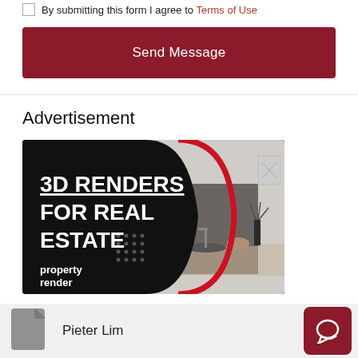By submitting this form I agree to Terms of Use
Send Message
Advertisement
[Figure (illustration): Advertisement banner for 3D Renders For Real Estate by property render, showing a modern kitchen interior render on the right and bold white text on black background on the left.]
Pieter Lim